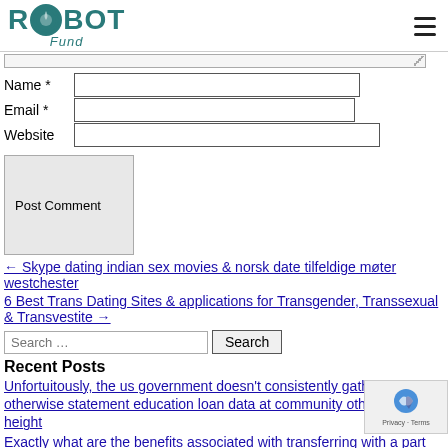[Figure (logo): ROIBOT Fund logo with teal text and circular icon]
Name *
Email *
Website
Post Comment
← Skype dating indian sex movies & norsk date tilfeldige møter westchester
6 Best Trans Dating Sites & applications for Transgender, Transsexual & Transvestite →
Search …
Recent Posts
Unfortuitously, the us government doesn't consistently gather otherwise statement education loan data at community otherwise local height
Exactly what are the benefits associated with transferring with a part degree?
Eu management concur even more Russia sanctions, but save certain to possess after
You can even pertain now let's talk about a personal lo
Faqs Into the Payday loans & Urgent Loans Getting Less than